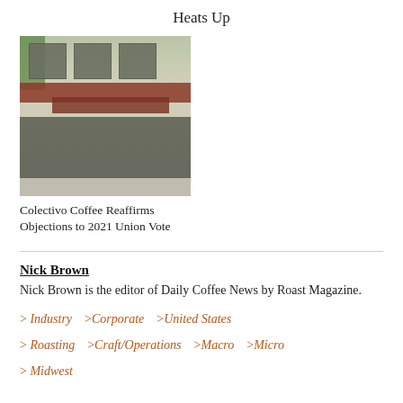Heats Up
[Figure (photo): Exterior photo of a Colectivo Coffee building with red awning and large windows]
Colectivo Coffee Reaffirms Objections to 2021 Union Vote
Nick Brown
Nick Brown is the editor of Daily Coffee News by Roast Magazine.
> Industry   > Corporate   > United States
> Roasting   > Craft/Operations   > Macro   > Micro
> Midwest